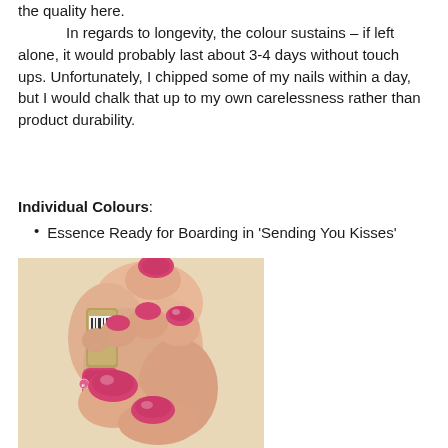the quality here.
In regards to longevity, the colour sustains – if left alone, it would probably last about 3-4 days without touch ups. Unfortunately, I chipped some of my nails within a day, but I would chalk that up to my own carelessness rather than product durability.
Individual Colours:
Essence Ready for Boarding in 'Sending You Kisses'
[Figure (photo): A hand holding a pink essence nail polish bottle, with nails painted in the same hot pink/magenta colour.]